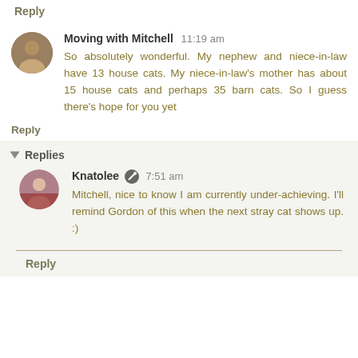Reply
Moving with Mitchell  11:19 am
So absolutely wonderful. My nephew and niece-in-law have 13 house cats. My niece-in-law's mother has about 15 house cats and perhaps 35 barn cats. So I guess there's hope for you yet
Reply
▾ Replies
Knatolee  7:51 am
Mitchell, nice to know I am currently under-achieving. I'll remind Gordon of this when the next stray cat shows up. :)
Reply